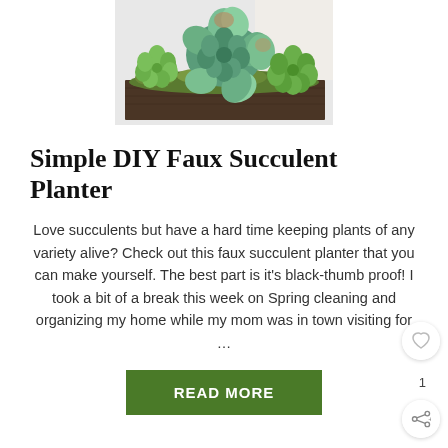[Figure (photo): Close-up photo of a faux succulent planter arrangement in a dark wooden box, showing green succulent plants and moss]
Simple DIY Faux Succulent Planter
Love succulents but have a hard time keeping plants of any variety alive? Check out this faux succulent planter that you can make yourself. The best part is it's black-thumb proof! I took a bit of a break this week on Spring cleaning and organizing my home while my mom was in town visiting for …
READ MORE